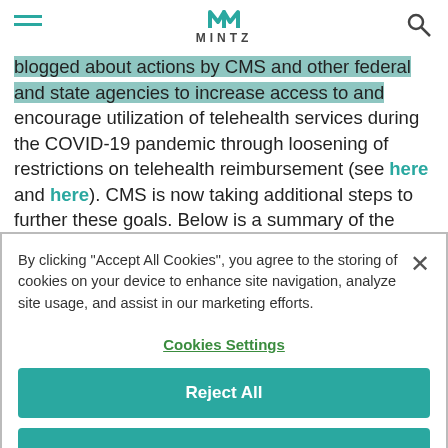MINTZ
blogged about actions by CMS and other federal and state agencies to increase access to and encourage utilization of telehealth services during the COVID-19 pandemic through loosening of restrictions on telehealth reimbursement (see here and here). CMS is now taking additional steps to further these goals. Below is a summary of the
By clicking "Accept All Cookies", you agree to the storing of cookies on your device to enhance site navigation, analyze site usage, and assist in our marketing efforts.
Cookies Settings
Reject All